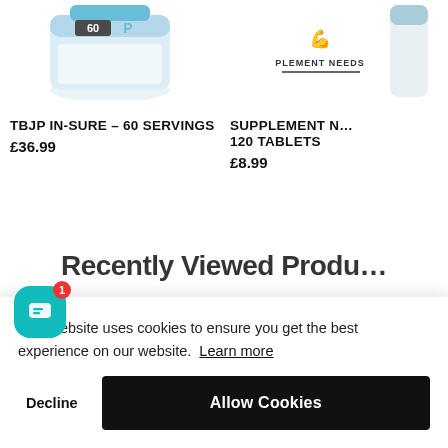[Figure (photo): Product image of TBJP IN-SURE supplement container with blue and white label, partially cropped at top]
TBJP IN-SURE – 60 SERVINGS
£36.99
[Figure (photo): Supplement Needs brand logo with muscle icon and text PLEMENT NEEDS, and partially visible product bottle on the right]
SUPPLEMENT N… 120 TABLETS
£8.99
Recently Viewed Products
This website uses cookies to ensure you get the best experience on our website. Learn more
Decline
Allow Cookies